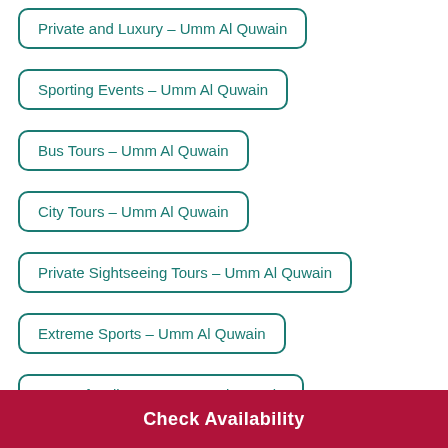Private and Luxury – Umm Al Quwain
Sporting Events – Umm Al Quwain
Bus Tours – Umm Al Quwain
City Tours – Umm Al Quwain
Private Sightseeing Tours – Umm Al Quwain
Extreme Sports – Umm Al Quwain
Ports of Call Tours – Umm Al Quwain
(partial item)
Check Availability